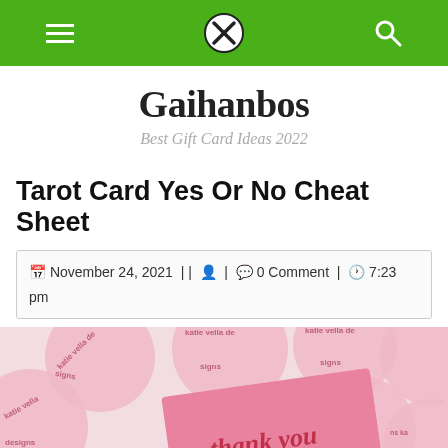Gaihanbos navigation bar
Gaihanbos
Best Gift Card Ideas 2022
Tarot Card Yes Or No Cheat Sheet
November 24, 2021 || 0 Comment | 7:23 pm
[Figure (photo): Pink circular stickers with 'katie vella designs' text arranged on a white background, with a pink card saying 'thank you for your support']